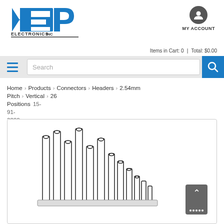[Figure (logo): NEP Electronics Inc logo - blue N, E, P letters with 'ELECTRONICS INC' text below]
MY ACCOUNT
Items in Cart: 0 | Total: $0.00
Search
Home > Products > Connectors > Headers > 2.54mm Pitch > Vertical > 26 Positions > 15-91-2260
[Figure (photo): Product image of vertical pin header connector with multiple pins arranged in a row]